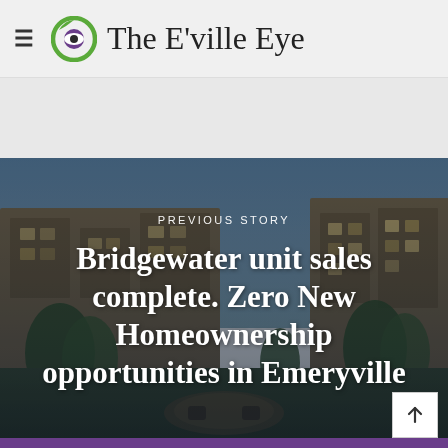The E'ville Eye
[Figure (photo): Aerial/ground view of Bridgewater residential complex in Emeryville at dusk, showing multi-story brown buildings with landscaped courtyard and outdoor seating area]
PREVIOUS STORY
Bridgewater unit sales complete. Zero New Homeownership opportunities in Emeryville